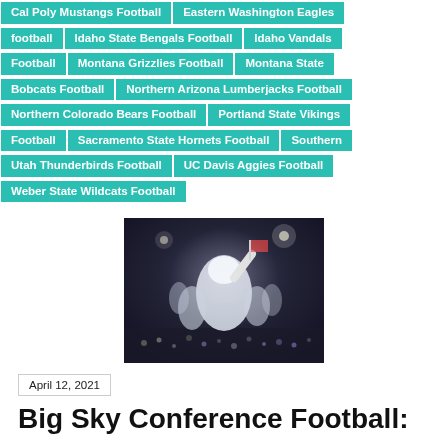Cal Poly Mustangs Football | Eastern Washington Eagles football | Idaho State Bengals Football | Idaho Vandals Football | Montana Grizzlies Football | Montana State Bobcats Football | Northern Arizona Lumberjacks Football | Northern Colorado Bears Football | Portland State Vikings Football | Sacramento State Hornets Football | Southern Utah Thunderbirds Football | UC Davis Aggies Football | Weber State Wildcats Football
[Figure (photo): Football players celebrating on field at night, one player raising arm with flag visible in background, stadium crowd visible]
April 12, 2021
Big Sky Conference Football: